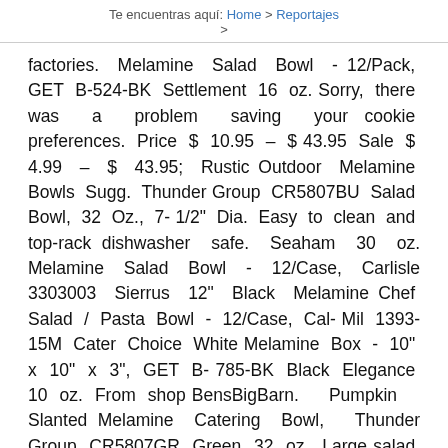Te encuentras aquí: Home > Reportajes >
factories. Melamine Salad Bowl - 12/Pack, GET B-524-BK Settlement 16 oz. Sorry, there was a problem saving your cookie preferences. Price $ 10.95 – $ 43.95 Sale $ 4.99 – $ 43.95; Rustic Outdoor Melamine Bowls Sugg. Thunder Group CR5807BU Salad Bowl, 32 Oz., 7-1/2" Dia. Easy to clean and top-rack dishwasher safe. Seaham 30 oz. Melamine Salad Bowl - 12/Case, Carlisle 3303003 Sierrus 12" Black Melamine Chef Salad / Pasta Bowl - 12/Case, Cal-Mil 1393-15M Cater Choice White Melamine Box - 10" x 10" x 3", GET B-785-BK Black Elegance 10 oz. From shop BensBigBarn. Pumpkin Slanted Melamine Catering Bowl, Thunder Group CR5807GR Green 32 oz. Large salad bowl with a fine and modern